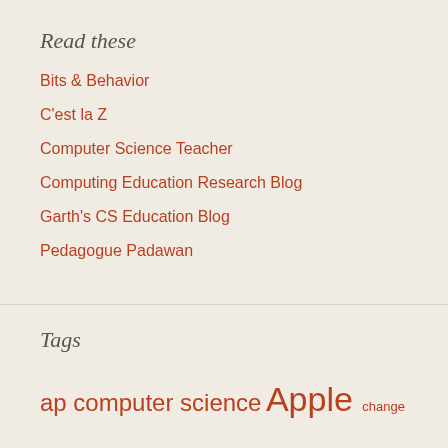Read these
Bits & Behavior
C'est la Z
Computer Science Teacher
Computing Education Research Blog
Garth's CS Education Blog
Pedagogue Padawan
Tags
ap computer science Apple change corona coronavirus covid19 dell disaster prep Distance-learning DIY education Every Day Carry experiments funny google google search teaching hardware